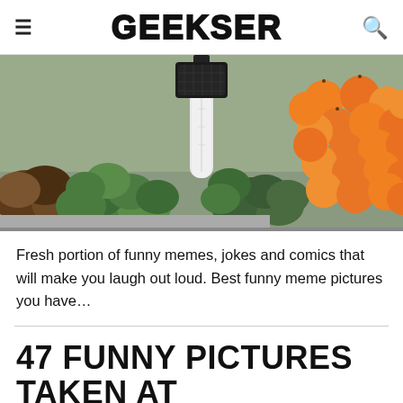≡  GEEKSER  🔍
[Figure (photo): Grocery store produce section showing avocados, limes, and oranges with a roll of plastic produce bags on a rack in the center]
Fresh portion of funny memes, jokes and comics that will make you laugh out loud. Best funny meme pictures you have…
47 FUNNY PICTURES TAKEN AT